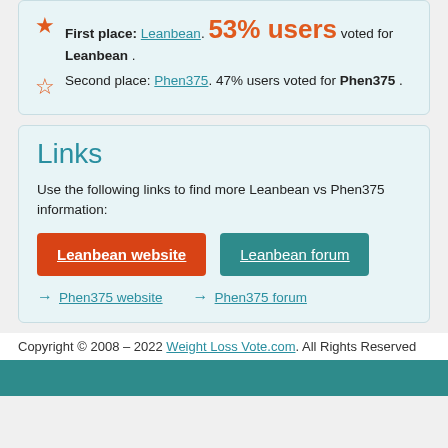First place: Leanbean. 53% users voted for Leanbean.
Second place: Phen375. 47% users voted for Phen375.
Links
Use the following links to find more Leanbean vs Phen375 information:
Leanbean website | Leanbean forum | Phen375 website | Phen375 forum
Copyright © 2008 – 2022 Weight Loss Vote.com. All Rights Reserved